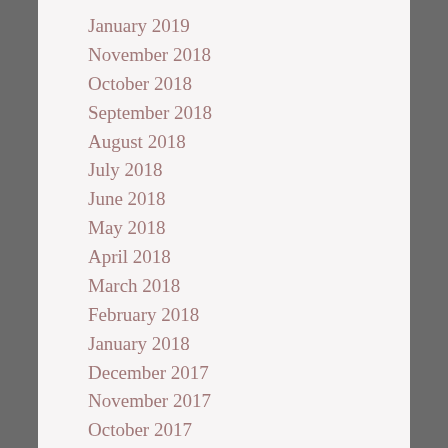January 2019
November 2018
October 2018
September 2018
August 2018
July 2018
June 2018
May 2018
April 2018
March 2018
February 2018
January 2018
December 2017
November 2017
October 2017
September 2017
August 2017
July 2017
June 2017